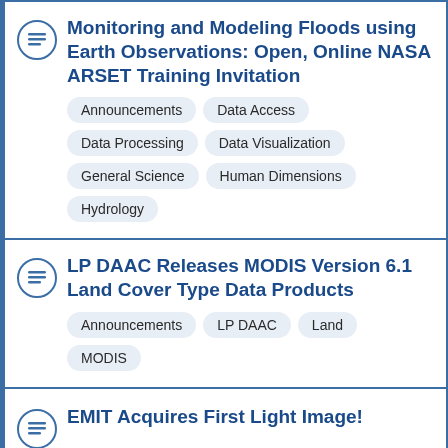Monitoring and Modeling Floods using Earth Observations: Open, Online NASA ARSET Training Invitation
Announcements
Data Access
Data Processing
Data Visualization
General Science
Human Dimensions
Hydrology
LP DAAC Releases MODIS Version 6.1 Land Cover Type Data Products
Announcements
LP DAAC
Land
MODIS
EMIT Acquires First Light Image!